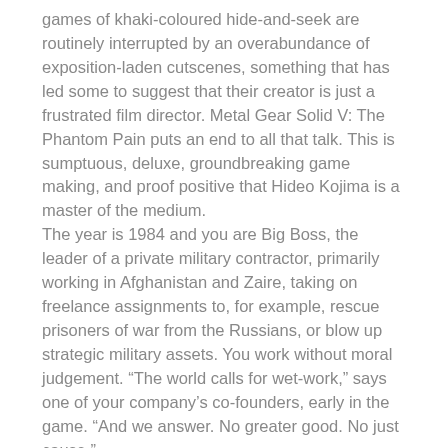games of khaki-coloured hide-and-seek are routinely interrupted by an overabundance of exposition-laden cutscenes, something that has led some to suggest that their creator is just a frustrated film director. Metal Gear Solid V: The Phantom Pain puts an end to all that talk. This is sumptuous, deluxe, groundbreaking game making, and proof positive that Hideo Kojima is a master of the medium. The year is 1984 and you are Big Boss, the leader of a private military contractor, primarily working in Afghanistan and Zaire, taking on freelance assignments to, for example, rescue prisoners of war from the Russians, or blow up strategic military assets. You work without moral judgement. “The world calls for wet-work,” says one of your company’s co-founders, early in the game. “And we answer. No greater good. No just cause.” Big Boss is a crack, lone wolf soldier who carries a Mary Poppins-esque bottomless bag full of tools and toys, and who is supported by an increasingly competent support team back home.